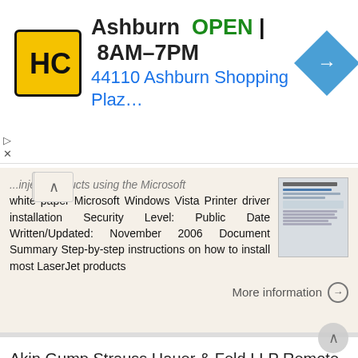[Figure (infographic): Advertisement banner: HC logo (black letters on yellow background), text 'Ashburn OPEN 8AM-7PM 44110 Ashburn Shopping Plaz...' with a blue navigation arrow icon. Small play/close controls on left.]
...inject products using this Microsoft white paper Microsoft Windows Vista Printer driver installation Security Level: Public Date Written/Updated: November 2006 Document Summary Step-by-step instructions on how to install most LaserJet products
More information →
Akin Gump Strauss Hauer & Feld LLP Remote Access Resources (DUO)
Akin Gump Strauss Hauer & Feld LLP Remote Access Resources (DUO) Firm Laptop Windows Home PC Mac Computer Apple ipad Android Devices Exit akingump.com 2015 Akin Gump Strauss Hauer & Feld